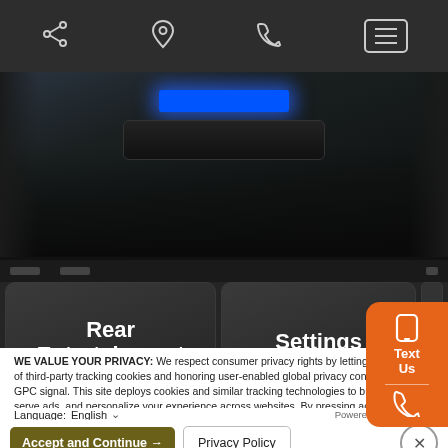[Figure (screenshot): Mobile website navigation bar with share, location, phone, and menu icons on dark background]
[Figure (photo): Car interior showing a glowing blue button on a dark dashboard]
[Figure (photo): Car infotainment touchscreen showing 'Rear Entertainment' and 'Settings' buttons with a hand pressing them]
WE VALUE YOUR PRIVACY: We respect consumer privacy rights by letting visitors opt out of third-party tracking cookies and honoring user-enabled global privacy controls, like the GPC signal. This site deploys cookies and similar tracking technologies to build profiles, serve ads, and personalize your experience across websites. By pressing accept, you consent to the use of such cookies. To manage your privacy rights or view the categories of personal information we collect and the purposes for which the information is used, click here.
Language: English ∨ Powered by ComplyAuto
Accept and Continue → Privacy Policy ×